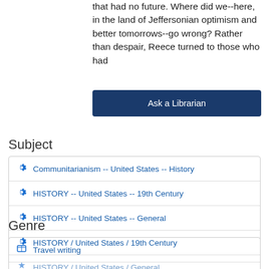that had no future. Where did we--here, in the land of Jeffersonian optimism and better tomorrows--go wrong? Rather than despair, Reece turned to those who had
Ask a Librarian
Subject
Communitarianism -- United States -- History
HISTORY -- United States -- 19th Century
HISTORY -- United States -- General
HISTORY / United States / 19th Century
HISTORY / United States / General
Genre
Travel writing
History